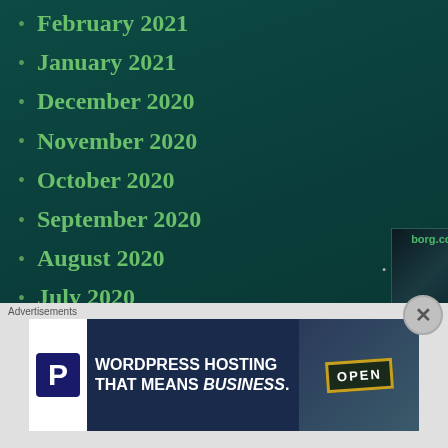February 2021
January 2021
December 2020
November 2020
October 2020
September 2020
August 2020
July 2020
June 2020
May 2020
April 2020
March 2020
February 2020
[Figure (screenshot): Thumbnail image with borg.com text on dark background]
[Figure (screenshot): Thumbnail with green pattern texture]
[Figure (screenshot): Thumbnail with blue avatar/figure image]
Advertisements
[Figure (screenshot): Advertisement banner: WORDPRESS HOSTING THAT MEANS BUSINESS. with parking P logo and OPEN sign image]